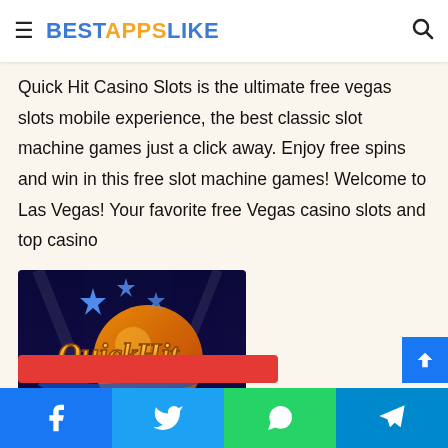BESTAPPSLIKE
Quick Hit Casino Slots is the ultimate free vegas slots mobile experience, the best classic slot machine games just a click away. Enjoy free spins and win in this free slot machine games! Welcome to Las Vegas! Your favorite free Vegas casino slots and top casino
[Figure (screenshot): Quick Hit Real Vegas Slots app promotional image with golden styled logo text and blue background]
Social share buttons: Facebook, Twitter, WhatsApp, Telegram